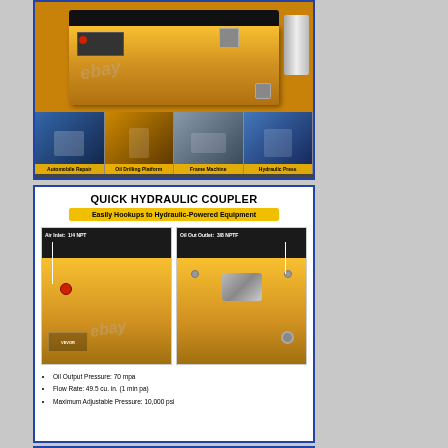[Figure (photo): Yellow air-operated hydraulic foot pump (VEVOR brand) shown from above, with four thumbnail images below showing application uses: Automobile Repair, Oil Drilling Platform, Frame Machine, Hydraulic Press]
[Figure (infographic): Quick Hydraulic Coupler infographic showing two close-up views of the pump's air inlet (1/4 NPT) and oil out outlet (3/8 NPTF), with bullet points: Oil Output Pressure: 70 mpa, Flow Rate: 49.5 cu. in. (1 min pa), Maximum Adjustable Pressure: 10,000 psi]
QUICK HYDRAULIC COUPLER
Easily Hookups to Hydraulic-Powered Equipment
Oil Output Pressure: 70 mpa
Flow Rate: 49.5 cu. in. (1 min pa)
Maximum Adjustable Pressure: 10,000 psi
[Figure (photo): Partial view of Foot-Actuated Design section header panel (gray background)]
FOOT-ACTUATED DESIGN